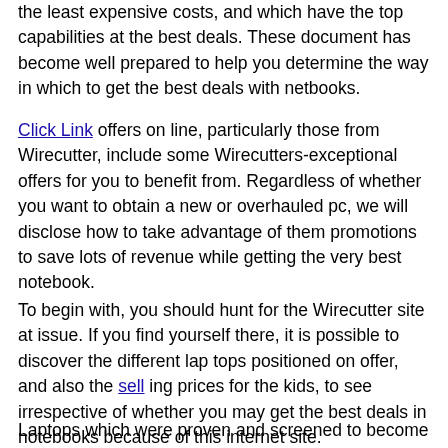the least expensive costs, and which have the top capabilities at the best deals. These document has become well prepared to help you determine the way in which to get the best deals with netbooks.
Click Link offers on line, particularly those from Wirecutter, include some Wirecutters-exceptional offers for you to benefit from. Regardless of whether you want to obtain a new or overhauled pc, we will disclose how to take advantage of them promotions to save lots of revenue while getting the very best notebook.
To begin with, you should hunt for the Wirecutter site at issue. If you find yourself there, it is possible to discover the different lap tops positioned on offer, and also the sell ing prices for the kids, to see irrespective of whether you may get the best deals in notebooks because of this internet site.
Laptops which were proven and screened to become trusted are always desirable to Wirecutter purchasers. They want to ensure that they can buy items proven and would be purchased...